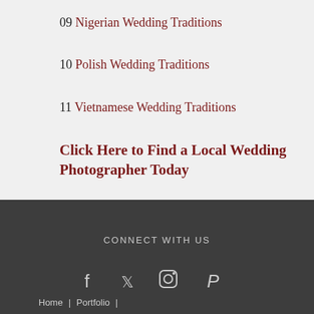09 Nigerian Wedding Traditions
10 Polish Wedding Traditions
11 Vietnamese Wedding Traditions
Click Here to Find a Local Wedding Photographer Today
CONNECT WITH US
[Figure (infographic): Social media icons: Facebook, Twitter, Instagram, Pinterest]
Home | Portfolio |